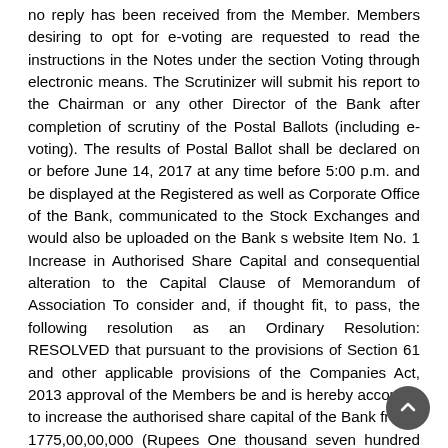no reply has been received from the Member. Members desiring to opt for e-voting are requested to read the instructions in the Notes under the section Voting through electronic means. The Scrutinizer will submit his report to the Chairman or any other Director of the Bank after completion of scrutiny of the Postal Ballots (including e-voting). The results of Postal Ballot shall be declared on or before June 14, 2017 at any time before 5:00 p.m. and be displayed at the Registered as well as Corporate Office of the Bank, communicated to the Stock Exchanges and would also be uploaded on the Bank s website Item No. 1 Increase in Authorised Share Capital and consequential alteration to the Capital Clause of Memorandum of Association To consider and, if thought fit, to pass, the following resolution as an Ordinary Resolution: RESOLVED that pursuant to the provisions of Section 61 and other applicable provisions of the Companies Act, 2013 approval of the Members be and is hereby accorded to increase the authorised share capital of the Bank from ` 1775,00,00,000 (Rupees One thousand seven hundred seventy five crores only) divided into 637,50,00,000 equity shares of ` 2 each, 150,00,000 shares of ` 100 each and 350 shares of 100,00,000 each to ` 2500,00,00,000 (Rupees Two